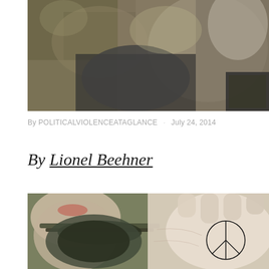[Figure (photo): Close-up photograph of a soldier in camouflage uniform and tactical gear, upper body visible]
By POLITICALVIOLENCEATAGLANCE · July 24, 2014
By Lionel Beehner
[Figure (photo): Close-up photograph of a soldier wearing a gas mask, holding up a hand with a peace symbol drawn on the palm]